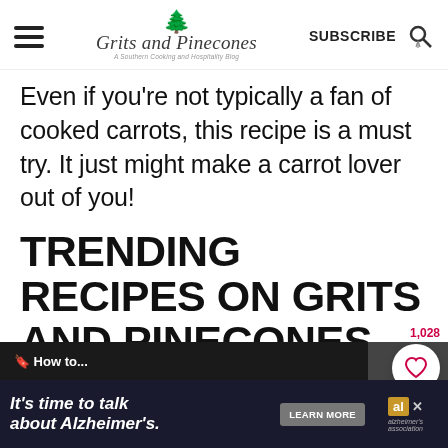Grits and Pinecones — A Southern Cooking and Hospitality Blog | SUBSCRIBE
Even if you're not typically a fan of cooked carrots, this recipe is a must try. It just might make a carrot lover out of you!
TRENDING RECIPES ON GRITS AND PINECONES
[Figure (screenshot): Partial image of a recipe thumbnail at the bottom of the page]
[Figure (infographic): Advertisement banner: It's time to talk about Alzheimer's. LEARN MORE. Alzheimer's association logo.]